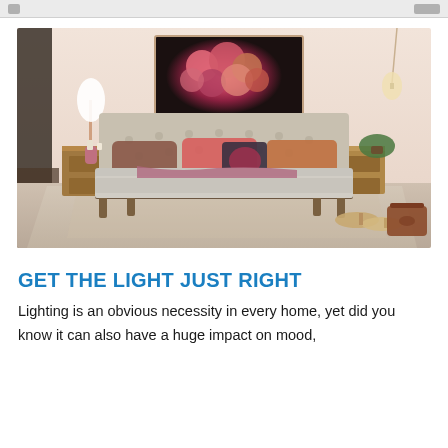[Figure (photo): Stylish bedroom interior with a wood-frame bed with tufted upholstered headboard, layered bedding in grey, mauve and orange, two wooden nightstands, a floral wall painting above the bed showing pink and red flowers on dark background, a pendant light, plants, and accessories on a beige rug.]
GET THE LIGHT JUST RIGHT
Lighting is an obvious necessity in every home, yet did you know it can also have a huge impact on mood,